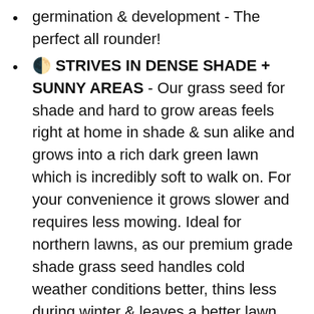germination & development - The perfect all rounder!
🌓 STRIVES IN DENSE SHADE + SUNNY AREAS - Our grass seed for shade and hard to grow areas feels right at home in shade & sun alike and grows into a rich dark green lawn which is incredibly soft to walk on. For your convenience it grows slower and requires less mowing. Ideal for northern lawns, as our premium grade shade grass seed handles cold weather conditions better, thins less during winter & leaves a better lawn every spring. 🇺🇸 MADE IN THE USA
💎 100% PURE & UNDILUTED - Big brands often don't disclose their composition on purpose. How many high quality seeds do you really get when there's 7 or more different